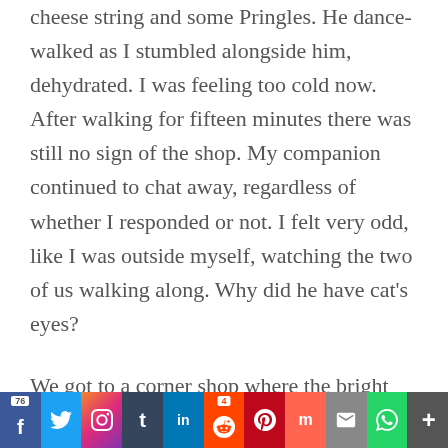cheese string and some Pringles. He dance-walked as I stumbled alongside him, dehydrated. I was feeling too cold now. After walking for fifteen minutes there was still no sign of the shop. My companion continued to chat away, regardless of whether I responded or not. I felt very odd, like I was outside myself, watching the two of us walking along. Why did he have cat's eyes?
We got to a corner shop where the bright lights and buzzing of fridges were unnerving. Was the man behind the counter starting at me? He knew I was stoned. Shit. He's going to call the
[Figure (infographic): Social media share bar with icons for Facebook (count: 76), Twitter, Instagram, Tumblr, LinkedIn, Reddit (count: 4), Pinterest, Mix, Email, WhatsApp, More]